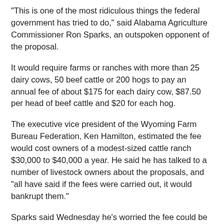"This is one of the most ridiculous things the federal government has tried to do," said Alabama Agriculture Commissioner Ron Sparks, an outspoken opponent of the proposal.
It would require farms or ranches with more than 25 dairy cows, 50 beef cattle or 200 hogs to pay an annual fee of about $175 for each dairy cow, $87.50 per head of beef cattle and $20 for each hog.
The executive vice president of the Wyoming Farm Bureau Federation, Ken Hamilton, estimated the fee would cost owners of a modest-sized cattle ranch $30,000 to $40,000 a year. He said he has talked to a number of livestock owners about the proposals, and "all have said if the fees were carried out, it would bankrupt them."
Sparks said Wednesday he's worried the fee could be extended to chickens and other farm animals and cause more meat to be imported.
"We'll let other countries put food on our tables like they are